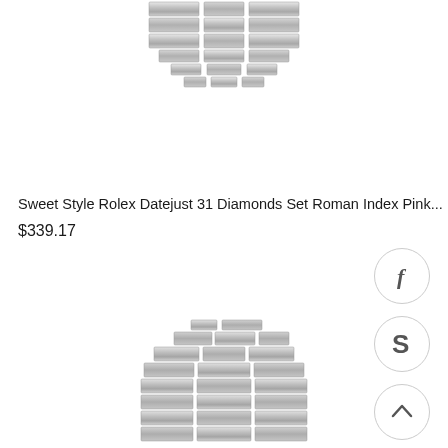[Figure (photo): Top portion of a stainless steel watch bracelet/band shown from above, metallic silver links visible]
Sweet Style Rolex Datejust 31 Diamonds Set Roman Index Pink...
$339.17
[Figure (illustration): Facebook circular social share button icon]
[Figure (illustration): Skype circular social share button icon]
[Figure (illustration): Scroll to top circular button with upward caret arrow]
[Figure (photo): Bottom portion of a stainless steel watch bracelet/band shown from above, metallic silver links visible]